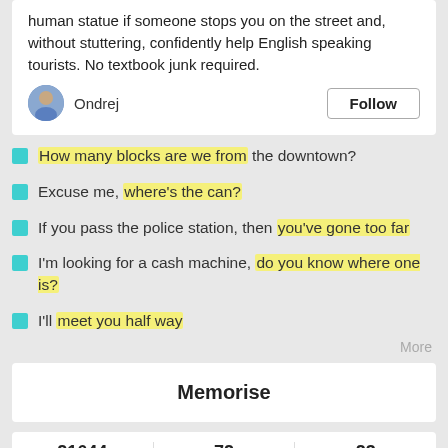human statue if someone stops you on the street and, without stuttering, confidently help English speaking tourists. No textbook junk required.
Ondrej  Follow
How many blocks are we from the downtown?
Excuse me, where's the can?
If you pass the police station, then you've gone too far
I'm looking for a cash machine, do you know where one is?
I'll meet you half way
More
Memorise
| 21644 Followers | 72 Reseaves | 23 Phrases |
| --- | --- | --- |